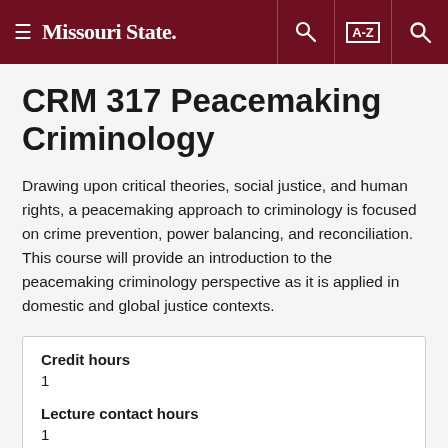Missouri State
CRM 317 Peacemaking Criminology
Drawing upon critical theories, social justice, and human rights, a peacemaking approach to criminology is focused on crime prevention, power balancing, and reconciliation. This course will provide an introduction to the peacemaking criminology perspective as it is applied in domestic and global justice contexts.
| Field | Value |
| --- | --- |
| Credit hours | 1 |
| Lecture contact hours | 1 |
| Lab contact hours |  |